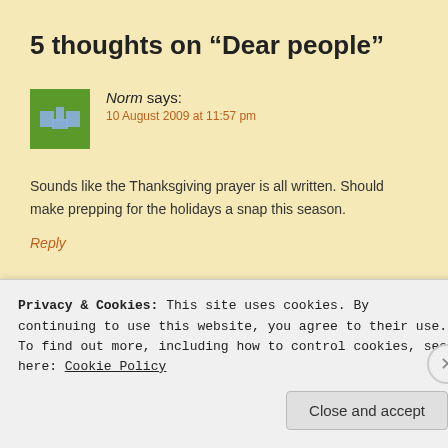5 thoughts on “Dear people”
Norm says:
10 August 2009 at 11:57 pm
Sounds like the Thanksgiving prayer is all written. Should make prepping for the holidays a snap this season.
Reply
Privacy & Cookies: This site uses cookies. By continuing to use this website, you agree to their use.
To find out more, including how to control cookies, see here: Cookie Policy
Close and accept